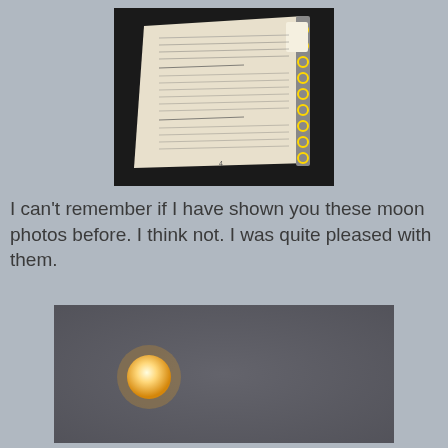[Figure (photo): A vintage spiral-bound recipe book/notebook open to a page with handwritten or printed recipes, photographed on a dark surface at an angle. A price tag is visible on the ring binding.]
I can't remember if I have shown you these moon photos before. I think not. I was quite pleased with them.
[Figure (photo): A photograph of a full moon appearing as a glowing yellow-orange circle against a dark grey cloudy sky.]